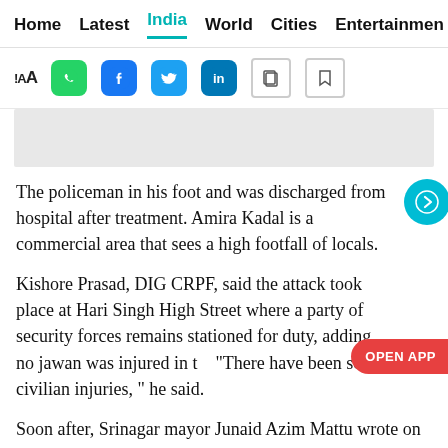Home  Latest  India  World  Cities  Entertainment
[Figure (screenshot): Toolbar with font size icon (AA), WhatsApp, Facebook, Twitter, LinkedIn, copy, and bookmark social sharing icons]
[Figure (other): Grey advertisement placeholder box]
The policeman in his foot and was discharged from hospital after treatment. Amira Kadal is a commercial area that sees a high footfall of locals.
Kishore Prasad, DIG CRPF, said the attack took place at Hari Singh High Street where a party of security forces remains stationed for duty, adding no jawan was injured in t... "There have been some civilian injuries, " he said.
Soon after, Srinagar mayor Junaid Azim Mattu wrote on Twitter, “Strongly condemn the grenade attack at Hari Singh High Street and my prayers for those injured in this barbaric, senseless terror attack.”